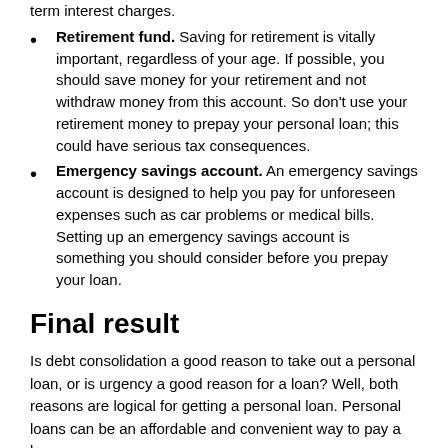term interest charges.
Retirement fund. Saving for retirement is vitally important, regardless of your age. If possible, you should save money for your retirement and not withdraw money from this account. So don't use your retirement money to prepay your personal loan; this could have serious tax consequences.
Emergency savings account. An emergency savings account is designed to help you pay for unforeseen expenses such as car problems or medical bills. Setting up an emergency savings account is something you should consider before you prepay your loan.
Final result
Is debt consolidation a good reason to take out a personal loan, or is urgency a good reason for a loan? Well, both reasons are logical for getting a personal loan. Personal loans can be an affordable and convenient way to pay a large expense.